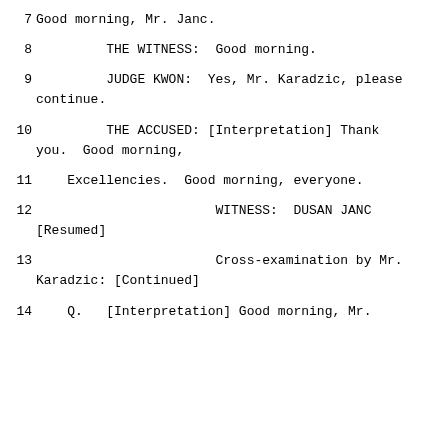7     Good morning, Mr. Janc.
8              THE WITNESS:  Good morning.
9              JUDGE KWON:  Yes, Mr. Karadzic, please continue.
10             THE ACCUSED: [Interpretation] Thank you.  Good morning,
11      Excellencies.  Good morning, everyone.
12                              WITNESS:  DUSAN JANC [Resumed]
13                              Cross-examination by Mr. Karadzic: [Continued]
14      Q.   [Interpretation] Good morning, Mr.